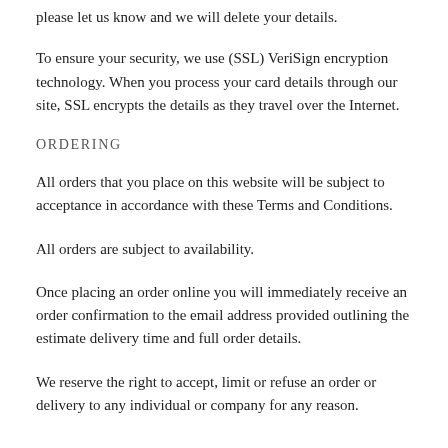please let us know and we will delete your details.
To ensure your security, we use (SSL) VeriSign encryption technology. When you process your card details through our site, SSL encrypts the details as they travel over the Internet.
ORDERING
All orders that you place on this website will be subject to acceptance in accordance with these Terms and Conditions.
All orders are subject to availability.
Once placing an order online you will immediately receive an order confirmation to the email address provided outlining the estimate delivery time and full order details.
We reserve the right to accept, limit or refuse an order or delivery to any individual or company for any reason.